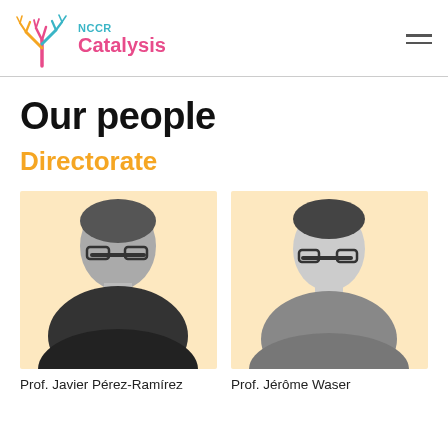NCCR Catalysis
Our people
Directorate
[Figure (photo): Black and white portrait photo of Prof. Javier Pérez-Ramírez on a light peach/beige background]
Prof. Javier Pérez-Ramírez
[Figure (photo): Black and white portrait photo of Prof. Jérôme Waser on a light peach/beige background]
Prof. Jérôme Waser